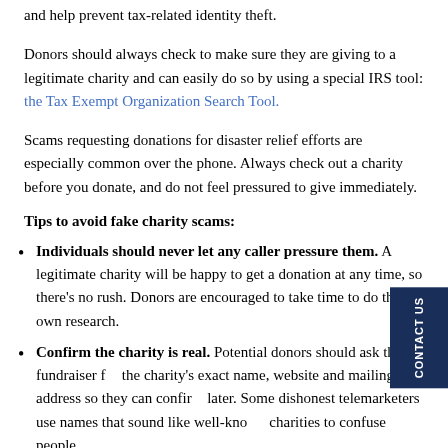and help prevent tax-related identity theft.
Donors should always check to make sure they are giving to a legitimate charity and can easily do so by using a special IRS tool: the Tax Exempt Organization Search Tool.
Scams requesting donations for disaster relief efforts are especially common over the phone. Always check out a charity before you donate, and do not feel pressured to give immediately.
Tips to avoid fake charity scams:
Individuals should never let any caller pressure them. A legitimate charity will be happy to get a donation at any time, so there’s no rush. Donors are encouraged to take time to do their own research.
Confirm the charity is real. Potential donors should ask the fundraiser for the charity’s exact name, website and mailing address so they can confirm later. Some dishonest telemarketers use names that sound like well-known charities to confuse people.
Be careful about how a donation is made. Don’t work with charities th…